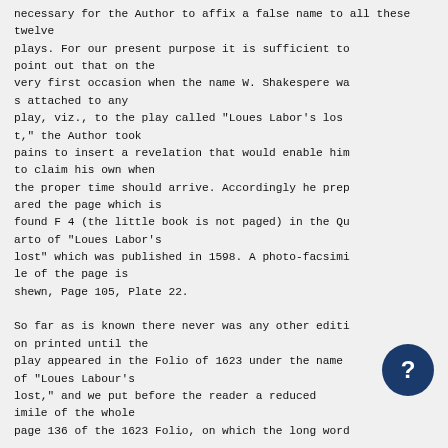necessary for the Author to affix a false name to all these twelve plays. For our present purpose it is sufficient to point out that on the very first occasion when the name W. Shakespere was attached to any play, viz., to the play called "Loues Labor's lost," the Author took pains to insert a revelation that would enable him to claim his own when the proper time should arrive. Accordingly he prepared the page which is found F 4 (the little book is not paged) in the Quarto of "Loues Labor's lost" which was published in 1598. A photo-facsimile of the page is shewn, Page 105, Plate 22.

So far as is known there never was any other edition printed until the play appeared in the Folio of 1623 under the name of "Loues Labour's lost," and we put before the reader a reduced facsimile of the whole page 136 of the 1623 Folio, on which the long word